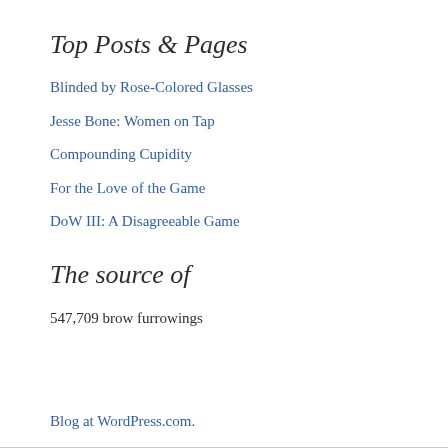Top Posts & Pages
Blinded by Rose-Colored Glasses
Jesse Bone: Women on Tap
Compounding Cupidity
For the Love of the Game
DoW III: A Disagreeable Game
The source of
547,709 brow furrowings
Blog at WordPress.com.